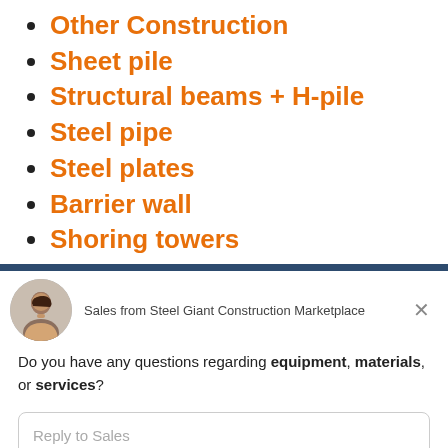Other Construction
Sheet pile
Structural beams + H-pile
Steel pipe
Steel plates
Barrier wall
Shoring towers
[Figure (screenshot): Chat widget from Steel Giant Construction Marketplace showing a sales representative avatar, message about equipment, materials, or services, and a reply input box powered by Drift.]
Sales from Steel Giant Construction Marketplace
Do you have any questions regarding equipment, materials, or services?
Reply to Sales
Chat ⚡ by Drift